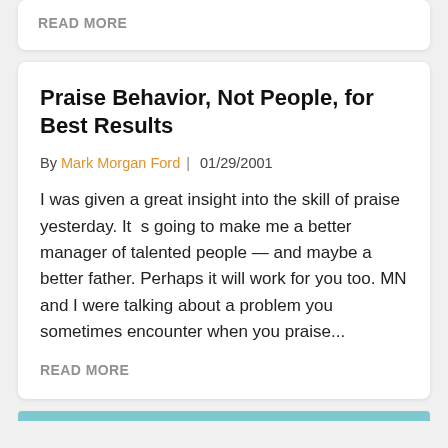READ MORE
Praise Behavior, Not People, for Best Results
By Mark Morgan Ford | 01/29/2001
I was given a great insight into the skill of praise yesterday. It  s going to make me a better manager of talented people — and maybe a better father. Perhaps it will work for you too. MN and I were talking about a problem you sometimes encounter when you praise...
READ MORE